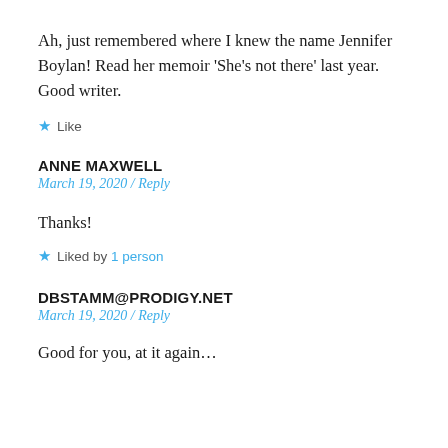Ah, just remembered where I knew the name Jennifer Boylan! Read her memoir ‘She’s not there’ last year. Good writer.
★ Like
ANNE MAXWELL
March 19, 2020 / Reply
Thanks!
★ Liked by 1 person
DBSTAMM@PRODIGY.NET
March 19, 2020 / Reply
Good for you, at it again…